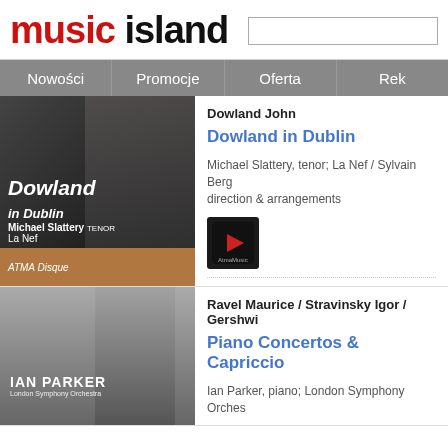music island
Nowości | Promocje | Oferta | Rek...
Dowland John
Dowland in Dublin
Michael Slattery, tenor; La Nef / Sylvain Berg direction & arrangements
ACD 22650; Atma; 1CD; luty 2012
Ravel Maurice / Stravinsky Igor / Gershwin
Piano Concertos & Capriccio
Ian Parker, piano; London Symphony Orches...